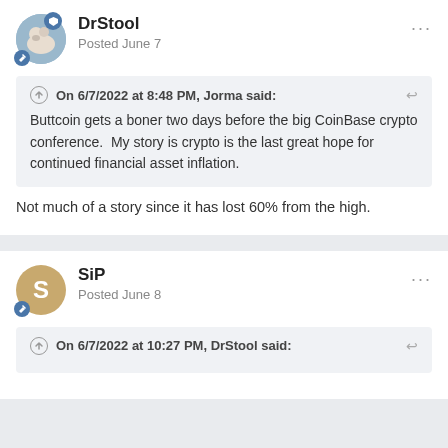DrStool
Posted June 7
On 6/7/2022 at 8:48 PM, Jorma said:
Buttcoin gets a boner two days before the big CoinBase crypto conference.  My story is crypto is the last great hope for continued financial asset inflation.
Not much of a story since it has lost 60% from the high.
SiP
Posted June 8
On 6/7/2022 at 10:27 PM, DrStool said: